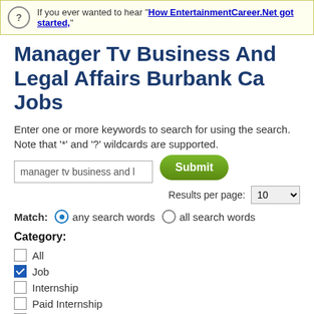If you ever wanted to hear "How EntertainmentCareer.Net got started,"
Manager Tv Business And Legal Affairs Burbank Ca Jobs
Enter one or more keywords to search for using the search. Note that '*' and '?' wildcards are supported.
Match: any search words  all search words
Category:
All
Job
Internship
Paid Internship
Remote/Virtual
Company
Support